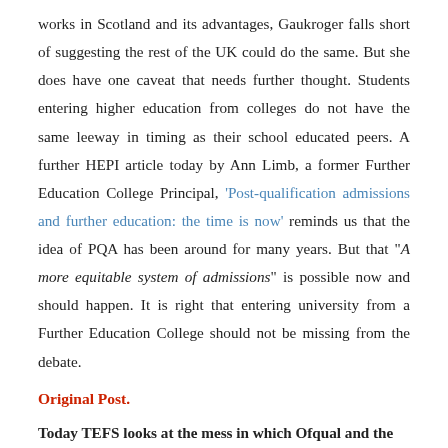works in Scotland and its advantages, Gaukroger falls short of suggesting the rest of the UK could do the same. But she does have one caveat that needs further thought. Students entering higher education from colleges do not have the same leeway in timing as their school educated peers. A further HEPI article today by Ann Limb, a former Further Education College Principal, 'Post-qualification admissions and further education: the time is now' reminds us that the idea of PQA has been around for many years. But that "A more equitable system of admissions" is possible now and should happen. It is right that entering university from a Further Education College should not be missing from the debate.
Original Post.
Today TEFS looks at the mess in which Ofqual and the Government have found themselves. Their choices, with some...